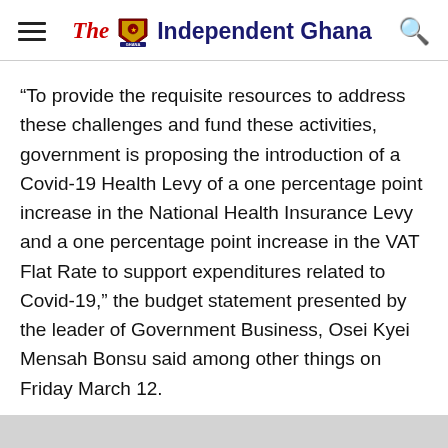The Independent Ghana
“To provide the requisite resources to address these challenges and fund these activities, government is proposing the introduction of a Covid-19 Health Levy of a one percentage point increase in the National Health Insurance Levy and a one percentage point increase in the VAT Flat Rate to support expenditures related to Covid-19,” the budget statement presented by the leader of Government Business, Osei Kyei Mensah Bonsu said among other things on Friday March 12.